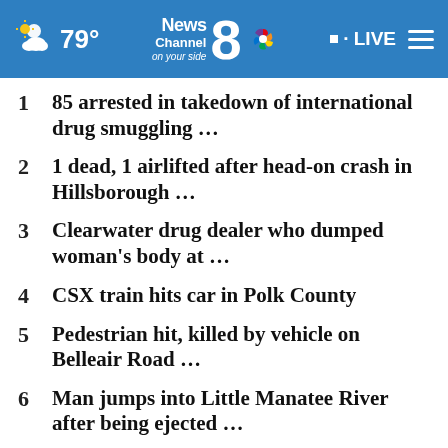News Channel 8 on your side — 79° — LIVE
1  85 arrested in takedown of international drug smuggling ...
2  1 dead, 1 airlifted after head-on crash in Hillsborough ...
3  Clearwater drug dealer who dumped woman's body at ...
4  CSX train hits car in Polk County
5  Pedestrian hit, killed by vehicle on Belleair Road ...
6  Man jumps into Little Manatee River after being ejected ...
7  WATCH: Pinellas deputies use PIT maneuver to stop ...